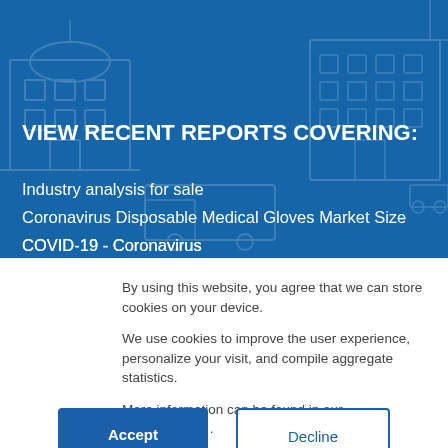VIEW RECENT REPORTS COVERING:
Industry analysis for sale
Coronavirus Disposable Medical Gloves Market Size
COVID-19 - Coronavirus
Security and Privacy Reports
Automotive Technology Research
By using this website, you agree that we can store cookies on your device.
We use cookies to improve the user experience, personalize your visit, and compile aggregate statistics.
More information can be found in our Privacy Policy .